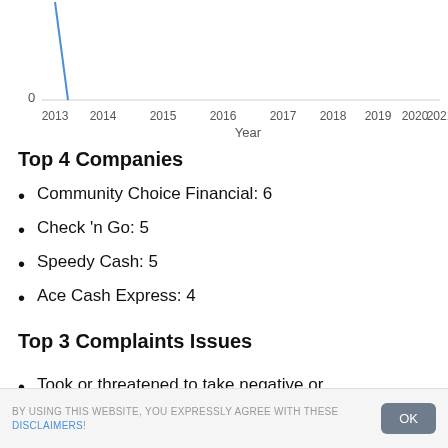[Figure (continuous-plot): Partial line chart showing data from 2013 to 2021 on x-axis (Year label), y-axis shows 0. A blue line is visible rising steeply near 2013.]
Top 4 Companies
Community Choice Financial: 6
Check 'n Go: 5
Speedy Cash: 5
Ace Cash Express: 4
Top 3 Complaints Issues
Took or threatened to take negative or
BY USING THIS WEBSITE, YOU EXPRESSLY AGREE WITH THESE DISCLAIMERS!